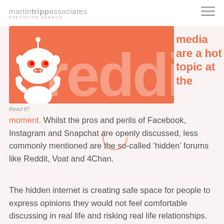martintrippassociates EXECUTIVE SEARCH
[Figure (logo): Reddit banner with orange background, Reddit alien mascot on left, 'reddit' wordmark in white transparent text]
Read it?
media are a hot topic at the moment. Whilst the pros and perils of Facebook, Instagram and Snapchat are openly discussed, less commonly mentioned are the so-called ‘hidden’ forums like Reddit, Voat and 4Chan.
The hidden internet is creating safe space for people to express opinions they would not feel comfortable discussing in real life and risking real life relationships. They can help previously